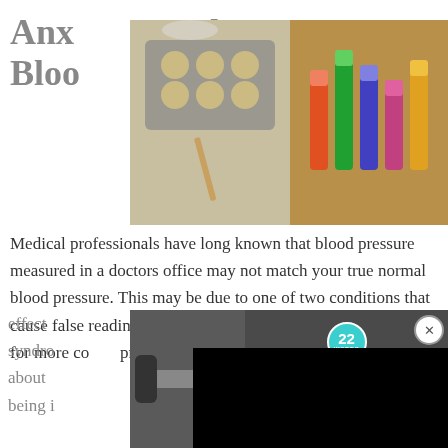Anx... alse Bloo...
[Figure (screenshot): Top advertisement banner with teal background showing baking items and lipstick products with text '22 - 37 GENIUS AMAZON PRODUCTS THAT CAN BE USED BY ANYONE']
Medical professionals have long known that blood pressure measured in a doctors office may not match your true normal blood pressure. This may be due to one of two conditions that cause false readings, and recent research shows that both call for more co... pressure monitoring.
When stress and anxiety caused... lead to higher-than-normal blood pressure readi... effect ...oat syndro... ...curs in about ... ...e to being i... ...hat
[Figure (screenshot): Video overlay black box with CLOSE button]
[Figure (screenshot): Bottom advertisement with dark background showing dumbbells/kitchen items, badge '22', title '37 HOME AND KITCHEN ITEMS EVERYONE SHOULD OWN', brand 'Mueller']